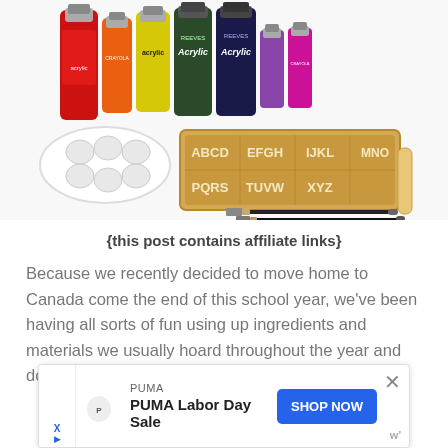[Figure (photo): A collection of acrylic paint bottles (various brands including Reeves and Crayola), a wooden letter tray with alphabet letters A-Z, a white paint palette, two paint brushes, and a wooden craft stick arranged on a white surface.]
{this post contains affiliate links}
Because we recently decided to move home to Canada come the end of this school year, we've been having all sorts of fun using up ingredients and materials we usually hoard throughout the year and dole out very slowly in
[Figure (screenshot): Advertisement banner: PUMA - PUMA Labor Day Sale - SHOP NOW button, with close X button]